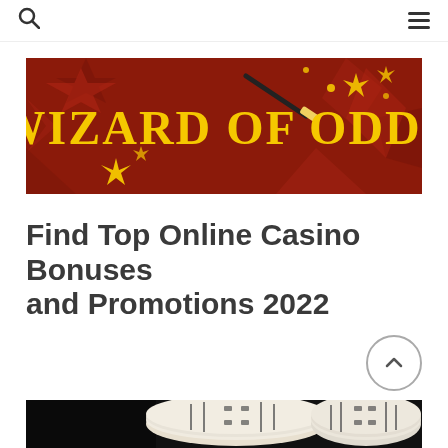[Figure (logo): Wizard of Odds banner logo – dark red/maroon background with geometric star shapes in darker red, yellow sparkle/star decorations, a magic wand graphic, and bold yellow serif text reading 'WIZARD OF ODDS']
Find Top Online Casino Bonuses and Promotions 2022
[Figure (photo): Bottom partial view of white casino chips stacked against a dark/black background]